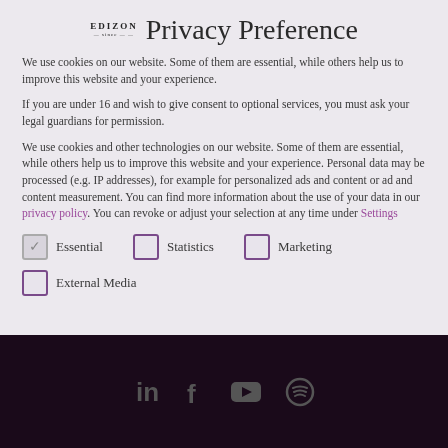EDIZON Privacy Preference
We use cookies on our website. Some of them are essential, while others help us to improve this website and your experience.
If you are under 16 and wish to give consent to optional services, you must ask your legal guardians for permission.
We use cookies and other technologies on our website. Some of them are essential, while others help us to improve this website and your experience. Personal data may be processed (e.g. IP addresses), for example for personalized ads and content or ad and content measurement. You can find more information about the use of your data in our privacy policy. You can revoke or adjust your selection at any time under Settings
Essential (checked)
Statistics (unchecked)
Marketing (unchecked)
External Media (unchecked)
[Figure (other): Dark footer bar with social media icons: LinkedIn, Facebook, YouTube, Spotify]